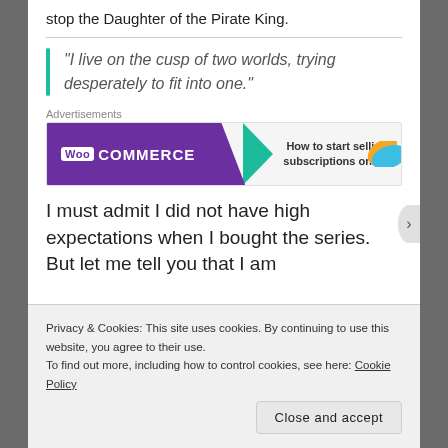stop the Daughter of the Pirate King.
“I live on the cusp of two worlds, trying desperately to fit into one.”
Advertisements
[Figure (other): WooCommerce advertisement banner: purple background on left with WooCommerce logo, green arrow/triangle shape, and right side with text 'How to start selling subscriptions online' with orange and blue decorative shapes.]
I must admit I did not have high expectations when I bought the series. But let me tell you that I am
Privacy & Cookies: This site uses cookies. By continuing to use this website, you agree to their use.
To find out more, including how to control cookies, see here: Cookie Policy
Close and accept